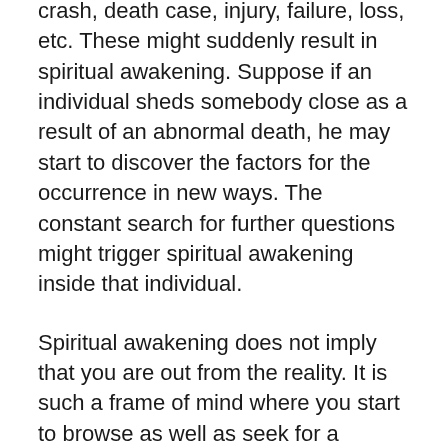crash, death case, injury, failure, loss, etc. These might suddenly result in spiritual awakening. Suppose if an individual sheds somebody close as a result of an abnormal death, he may start to discover the factors for the occurrence in new ways. The constant search for further questions might trigger spiritual awakening inside that individual.
Spiritual awakening does not imply that you are out from the reality. It is such a frame of mind where you start to browse as well as seek for a course which gives you a brand-new definition of life.
What Do I Do if I Did